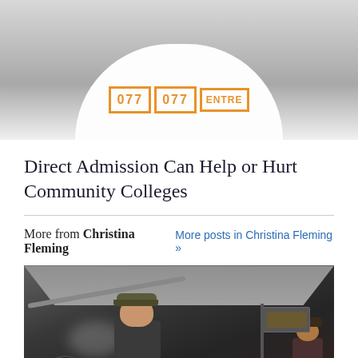[Figure (photo): Top portion of a plate or circular logo with orange text boxes showing '077' and 'ENTRE' text, partially cropped]
Direct Admission Can Help or Hurt Community Colleges
More from Christina Fleming   More posts in Christina Fleming »
[Figure (photo): Photo of a restaurant kitchen with workers wearing caps cooking at a commercial range with steam and overhead ventilation hood]